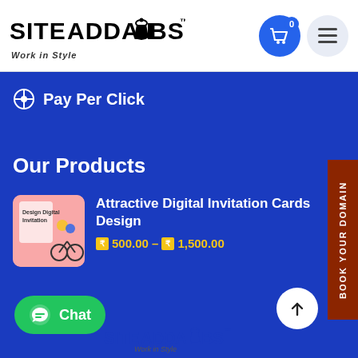[Figure (logo): SiteAdda Labs logo with text and Work in Style tagline]
Pay Per Click
Our Products
[Figure (photo): Digital Invitation Card product thumbnail showing couple on bicycle with Design Digital Invitation text]
Attractive Digital Invitation Cards Design
₹ 500.00 – ₹ 1,500.00
BOOK YOUR DOMAIN
Chat
[Figure (logo): SiteAdda Labs footer logo]